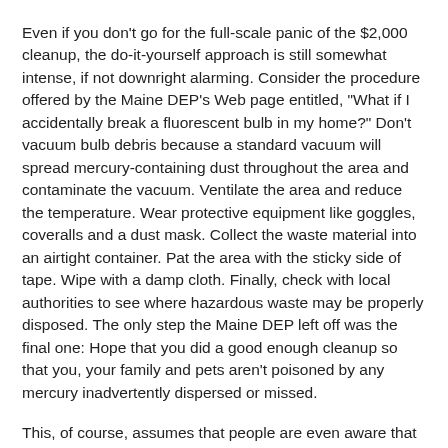Even if you don't go for the full-scale panic of the $2,000 cleanup, the do-it-yourself approach is still somewhat intense, if not downright alarming. Consider the procedure offered by the Maine DEP's Web page entitled, "What if I accidentally break a fluorescent bulb in my home?" Don't vacuum bulb debris because a standard vacuum will spread mercury-containing dust throughout the area and contaminate the vacuum. Ventilate the area and reduce the temperature. Wear protective equipment like goggles, coveralls and a dust mask. Collect the waste material into an airtight container. Pat the area with the sticky side of tape. Wipe with a damp cloth. Finally, check with local authorities to see where hazardous waste may be properly disposed. The only step the Maine DEP left off was the final one: Hope that you did a good enough cleanup so that you, your family and pets aren't poisoned by any mercury inadvertently dispersed or missed.
This, of course, assumes that people are even aware that breaking CFLs entails special cleanup procedures. The potentially hazardous CFL is being pushed by companies